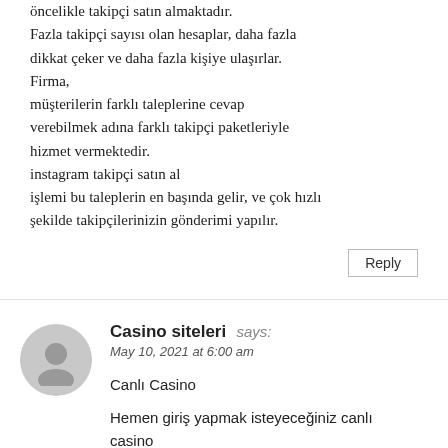öncelikle takipçi satın almaktadır.
Fazla takipçi sayısı olan hesaplar, daha fazla dikkat çeker ve daha fazla kişiye ulaşırlar. Firma,
müşterilerin farklı taleplerine cevap verebilmek adına farklı takipçi paketleriyle hizmet vermektedir.
instagram takipçi satın al
işlemi bu taleplerin en başında gelir, ve çok hızlı şekilde takipçilerinizin gönderimi yapılır.
Reply
Casino siteleri says:
May 10, 2021 at 6:00 am
Canlı Casino
Hemen giriş yapmak isteyeceğiniz canlı casino siteleri için nelere dikkat etmeniz